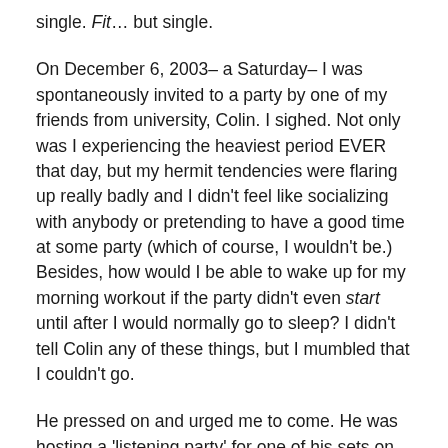single. Fit… but single.
On December 6, 2003– a Saturday– I was spontaneously invited to a party by one of my friends from university, Colin. I sighed. Not only was I experiencing the heaviest period EVER that day, but my hermit tendencies were flaring up really badly and I didn't feel like socializing with anybody or pretending to have a good time at some party (which of course, I wouldn't be.) Besides, how would I be able to wake up for my morning workout if the party didn't even start until after I would normally go to sleep? I didn't tell Colin any of these things, but I mumbled that I couldn't go.
He pressed on and urged me to come. He was hosting a 'listening party' for one of his sets on CBC Radio [note: this is Canada's national public broadcasting station, for